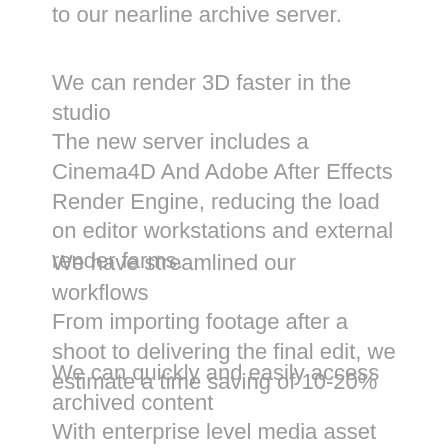to our nearline archive server.
We can render 3D faster in the studio
The new server includes a Cinema4D And Adobe After Effects Render Engine, reducing the load on editor workstations and external render farms.
We have streamlined our workflows
From importing footage after a shoot to delivering the final edit, we estimate a time saving of 10-20%
We can quickly and easily access archived content
With enterprise level media asset management